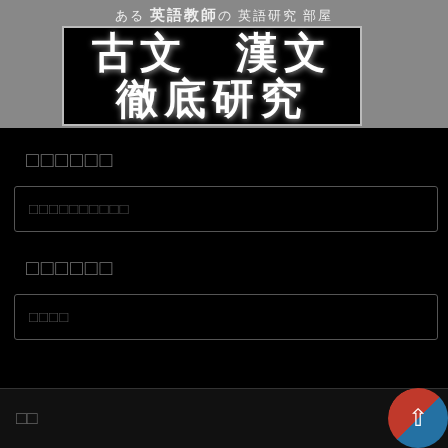[Figure (screenshot): Website header with Japanese text: ある 英語教師の英語研究 部屋, and a black banner image with large brushstroke Japanese text: 古文 漢文 徹底研究]
□□□□□□
□□□□□□□□□□
□□□□□□
□□□□
□□